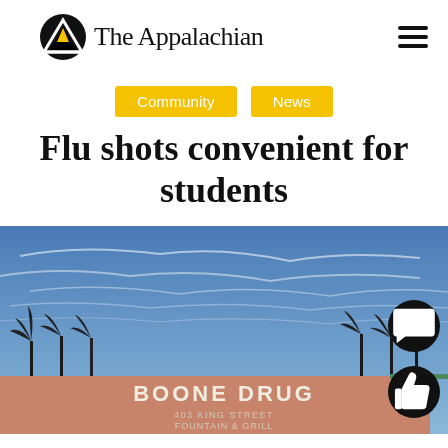The Appalachian
Community   News
Flu shots convenient for students
[Figure (photo): Exterior photo of Boone Drug store with blue sky and bare trees in background. Sign reads: BOONE DRUG, 403 KING STREET, FOUNTAIN & GRILL]